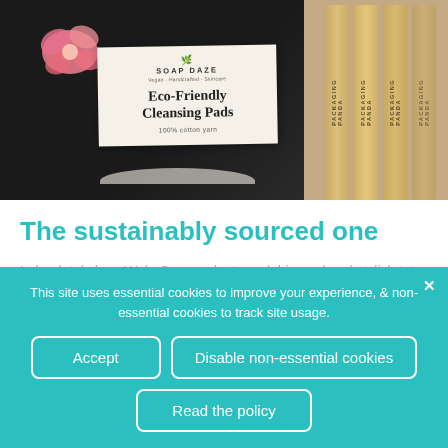[Figure (photo): Photo of Soap Daze eco-friendly cleansing pads on dark background (left) and bamboo pencils with 'panda packaging' text (right)]
The sustainably sourced one
I absolutely love WakeCup products and this cool and stylish tote bag
This site uses essential cookies to improve your experience, & non-essential cookies to track site usage.